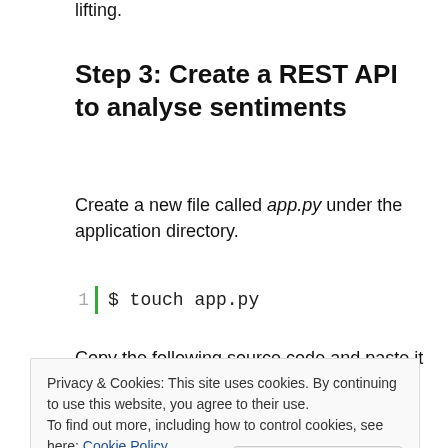lifting.
Step 3: Create a REST API to analyse sentiments
Create a new file called app.py under the application directory.
1  |  $ touch app.py
Copy the following source code and paste it in
Privacy & Cookies: This site uses cookies. By continuing to use this website, you agree to their use.
To find out more, including how to control cookies, see here: Cookie Policy
Close and accept
5  |  app = Flask(__name__)